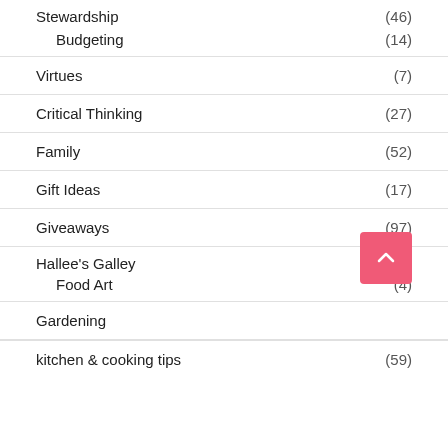Stewardship (46)
Budgeting (14)
Virtues (7)
Critical Thinking (27)
Family (52)
Gift Ideas (17)
Giveaways (97)
Hallee's Galley (653)
Food Art (4)
Gardening
kitchen & cooking tips (59)